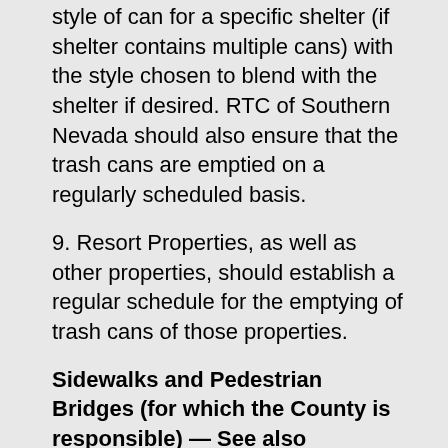style of can for a specific shelter (if shelter contains multiple cans) with the style chosen to blend with the shelter if desired. RTC of Southern Nevada should also ensure that the trash cans are emptied on a regularly scheduled basis.
9. Resort Properties, as well as other properties, should establish a regular schedule for the emptying of trash cans of those properties.
Sidewalks and Pedestrian Bridges (for which the County is responsible) — See also recommendation #17 under Graffiti/Unauthorized Advertising relating to “hotline” to the County for use outside of normal Public Works officer hours